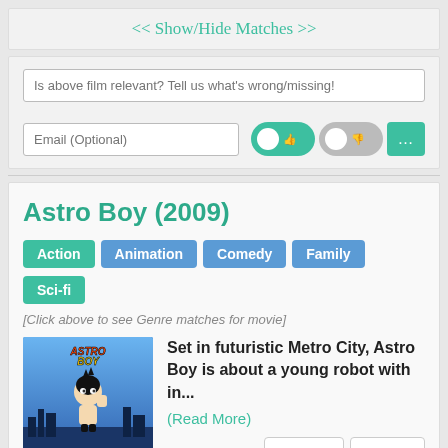<< Show/Hide Matches >>
Is above film relevant? Tell us what's wrong/missing!
Email (Optional)
Astro Boy (2009)
Action
Animation
Comedy
Family
Sci-fi
[Click above to see Genre matches for movie]
Set in futuristic Metro City, Astro Boy is about a young robot with in...
(Read More)
Trailer
IMDB